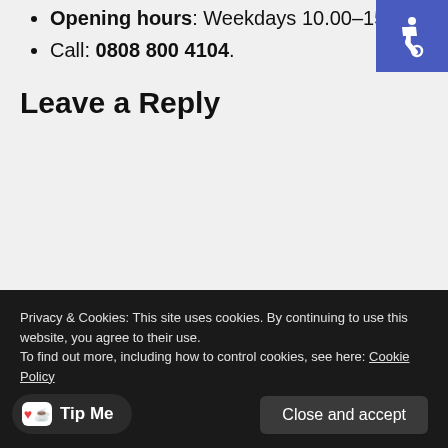Opening hours: Weekdays 10.00–15.00.
Call: 0808 800 4104.
[Figure (illustration): Blue accessibility icon (wheelchair symbol) in top-right corner]
Leave a Reply
Privacy & Cookies: This site uses cookies. By continuing to use this website, you agree to their use.
To find out more, including how to control cookies, see here: Cookie Policy
Close and accept
Tip Me